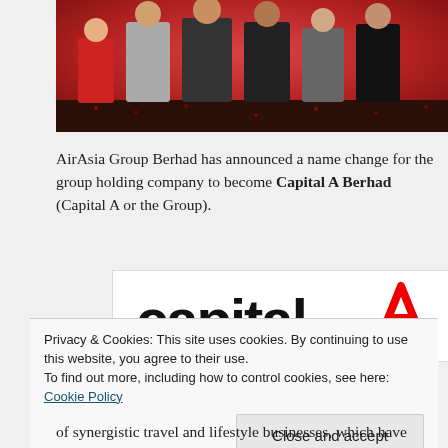[Figure (photo): Group photo of several people standing in front of a red background with confetti on the floor]
AirAsia Group Berhad has announced a name change for the group holding company to become Capital A Berhad (Capital A or the Group).
[Figure (logo): Capital A logo — the word 'capital' in bold lowercase black text beside a red stylized letter A]
Privacy & Cookies: This site uses cookies. By continuing to use this website, you agree to their use.
To find out more, including how to control cookies, see here: Cookie Policy
of synergistic travel and lifestyle businesses, which have